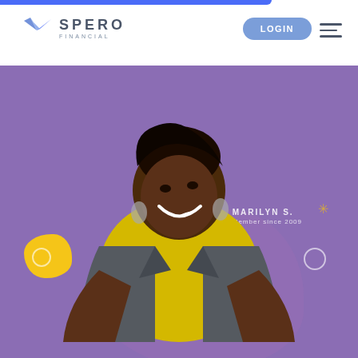[Figure (logo): Spero Financial logo with blue bird/arrow icon and text SPERO FINANCIAL]
LOGIN
[Figure (photo): Smiling woman in yellow shirt and grey jacket with hands on hips, against a purple background with decorative shapes. Text overlay reads MARILYN S. Member since 2009]
MARILYN S.
Member since 2009